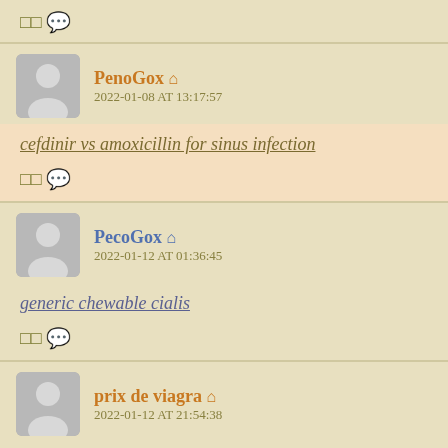□ 💬
PenoGox 🏠
2022-01-08 AT 13:17:57
cefdinir vs amoxicillin for sinus infection
□ 💬
PecoGox 🏠
2022-01-12 AT 01:36:45
generic chewable cialis
□ 💬
prix de viagra 🏠
2022-01-12 AT 21:54:38